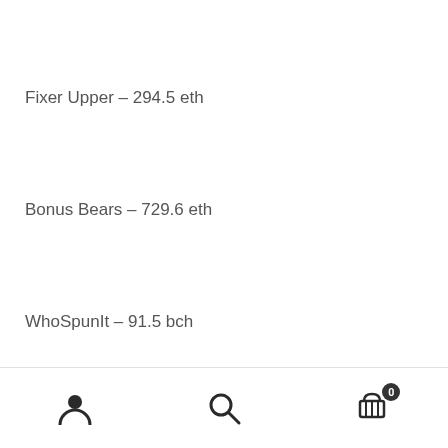Fixer Upper – 294.5 eth
Bonus Bears – 729.6 eth
WhoSpunIt – 91.5 bch
Bowled Over – 337.3 eth